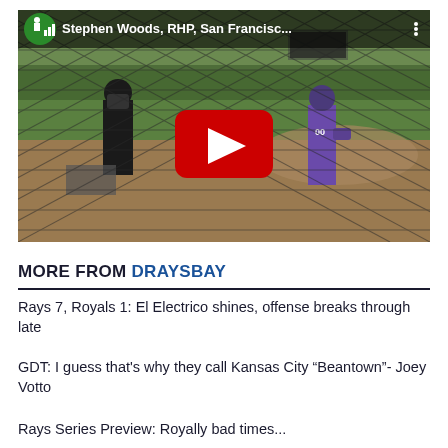[Figure (screenshot): YouTube video thumbnail showing a baseball field scene viewed through a chain-link fence. A pitcher in purple uniform and an umpire in black are visible. The video title bar reads 'Stephen Woods, RHP, San Francisc...' with a YouTube logo and three-dot menu. A red YouTube play button is centered on the image.]
MORE FROM DRAYSBAY
Rays 7, Royals 1: El Electrico shines, offense breaks through late
GDT: I guess that's why they call Kansas City "Beantown"- Joey Votto
Rays Series Preview: Royally bad times...